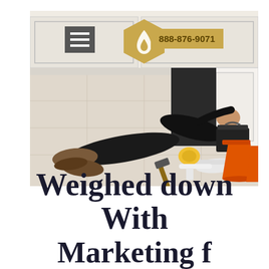[Figure (photo): A plumber lying on a kitchen floor working under a sink cabinet, surrounded by tools including a hammer, plumbing pipes, a toolbox, and orange buckets. A hexagonal logo with a flame/drop icon is centered at the top of the image, a hamburger menu icon is at the top left, and a gold phone number badge reading 888-876-9071 is at the top right.]
Weighed down With Marketing f